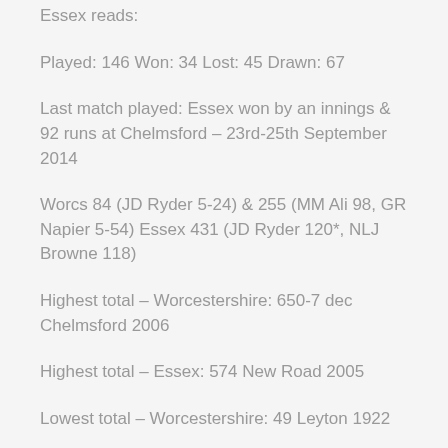Essex reads:
Played: 146 Won: 34 Lost: 45 Drawn: 67
Last match played: Essex won by an innings & 92 runs at Chelmsford – 23rd-25th September 2014
Worcs 84 (JD Ryder 5-24) & 255 (MM Ali 98, GR Napier 5-54) Essex 431 (JD Ryder 120*, NLJ Browne 118)
Highest total – Worcestershire: 650-7 dec Chelmsford 2006
Highest total – Essex: 574 New Road 2005
Lowest total – Worcestershire: 49 Leyton 1922
Lowest total – Essex: 65 Chelmsford 1947 65 Chelmsford 1973